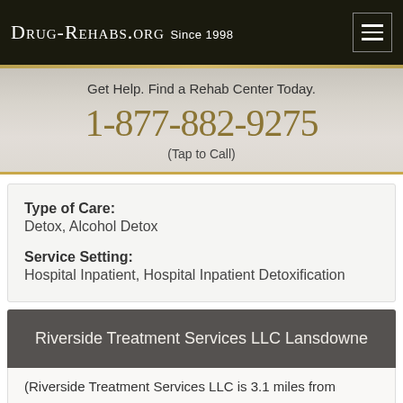Drug-Rehabs.org Since 1998
Get Help. Find a Rehab Center Today.
1-877-882-9275
(Tap to Call)
Type of Care:
Detox, Alcohol Detox
Service Setting:
Hospital Inpatient, Hospital Inpatient Detoxification
Riverside Treatment Services LLC Lansdowne
(Riverside Treatment Services LLC is 3.1 miles from